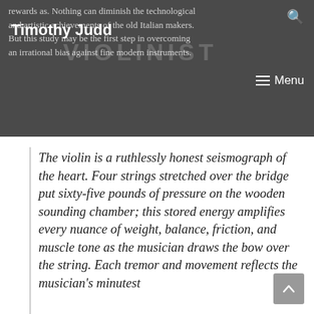rewards as. Nothing can diminish the technological and artistic achievements of the old Italian makers. But this study may be the first step in overcoming an irrational bias against fine modern instruments.
Timothy Judd
The violin is a ruthlessly honest seismograph of the heart. Four strings stretched over the bridge put sixty-five pounds of pressure on the wooden sounding chamber; this stored energy amplifies every nuance of weight, balance, friction, and muscle tone as the musician draws the bow over the string. Each tremor and movement reflects the musician's minutest